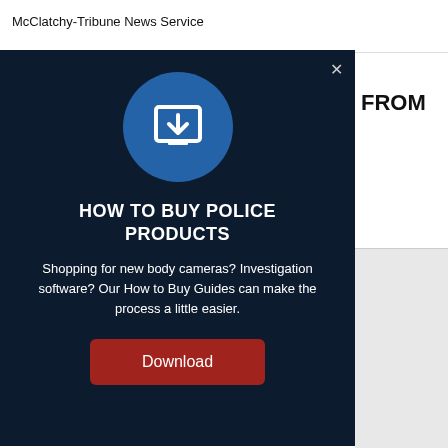McClatchy-Tribune News Service
[Figure (screenshot): A modal dialog popup with dark navy background showing a download prompt for 'How to Buy Police Products'. Contains a blue circle icon with a download symbol, a bold white title 'HOW TO BUY POLICE PRODUCTS', descriptive body text about body cameras and investigation software, and a red 'Download' button. A close (×) button is in the top-right corner. Behind the modal on the right side, partial text 'FROM' is visible in bold on white background, and a gray panel below.]